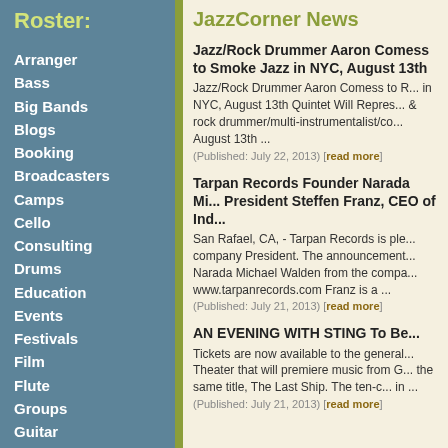Roster:
Arranger
Bass
Big Bands
Blogs
Booking
Broadcasters
Camps
Cello
Consulting
Drums
Education
Events
Festivals
Film
Flute
Groups
Guitar
Harmonica
Management
Organ
Organizations
Percussion
Piano
Producing
Publicity
Publishing
JazzCorner News
Jazz/Rock Drummer Aaron Comess to Smoke Jazz in NYC, August 13th
Jazz/Rock Drummer Aaron Comess to R... in NYC, August 13th Quintet Will Repres... & rock drummer/multi-instrumentalist/co... August 13th ... (Published: July 22, 2013) [read more]
Tarpan Records Founder Narada Mi... President Steffen Franz, CEO of Ind...
San Rafael, CA, - Tarpan Records is ple... company President. The announcement... Narada Michael Walden from the compa... www.tarpanrecords.com Franz is a ... (Published: July 21, 2013) [read more]
AN EVENING WITH STING To Be...
Tickets are now available to the general... Theater that will premiere music from G... the same title, The Last Ship. The ten-c... in ... (Published: July 21, 2013) [read more]